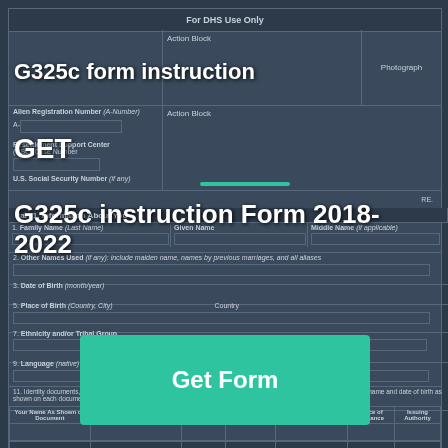G325c form instruction
For DHS Use Only
|  | Action Block | Photograph |
| --- | --- | --- |
|  |  |  |
GET
G325c instruction Form 2018-2022
Part 1. Information About You
| Family Name (Last Name) | Given Name | Middle Name (if applicable) |
| --- | --- | --- |
|  |  |  |
| Other Names Used (if any): include maiden name, names by previous marriages, and all aliases |
| --- |
|  |
|  |
3. Date of Birth (month/year)
5. Place of Birth (Country, City)
7. Ethnicity and/or Tribal Group
9. Language (native)    10. Other Languages that You Speak
11. Identity documents, e.g., passport, national identification card and/or UNHCR identification card. Provide your complete name and date of birth as shown on each document listed.
| Your Name As Shown on Document | Date of Birth on Document (month/year) | Document Type | Document Number | Date of Issuance (month/year) | Place of Issuance | Issuing Authority |
| --- | --- | --- | --- | --- | --- | --- |
|  |  |  |  |  |  |  |
|  |  |  |  |  |  |  |
[Figure (other): Get Form call-to-action button overlay in teal/green color]